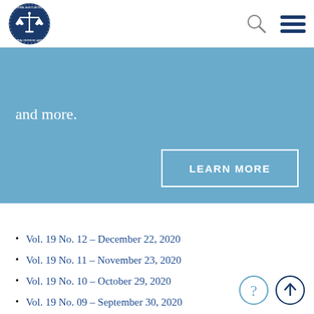National Association of Criminal Defense Lawyers
and more.
LEARN MORE
Vol. 19 No. 12 – December 22, 2020
Vol. 19 No. 11 – November 23, 2020
Vol. 19 No. 10 – October 29, 2020
Vol. 19 No. 09 – September 30, 2020
Vol. 19 No. 08 – August 27, 2020
Vol. 19 No. 07 – July 30, 2020
Vol. 19 No. 06 – June 26, 2020